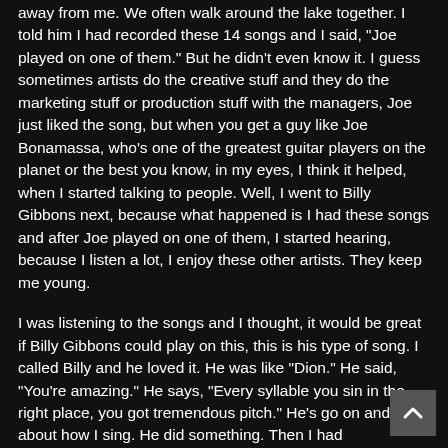away from me. We often walk around the lake together. I told him I had recorded these 14 songs and I said, "Joe played on one of them." But he didn't even know it. I guess sometimes artists do the creative stuff and they do the marketing stuff or production stuff with the managers, Joe just liked the song, but when you get a guy like Joe Bonamassa, who's one of the greatest guitar players on the planet or the best you know, in my eyes, I think it helped, when I started talking to people. Well, I went to Billy Gibbons next, because what happened is I had these songs and after Joe played on one of them, I started hearing, because I listen a lot, I enjoy these other artists. They keep me young.
I was listening to the songs and I thought, it would be great if Billy Gibbons could play on this, this is his type of song. I called Billy and he loved it. He was like "Dion." He said, "You're amazing." He says, "Every syllable you sin in the right place, you got tremendous pitch." He's go on and on about how I sing. He did something. Then I had